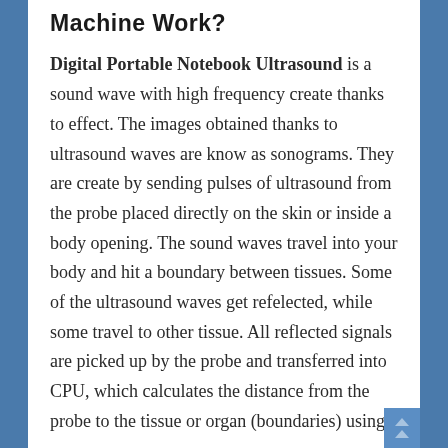Machine Work?
Digital Portable Notebook Ultrasound is a sound wave with high frequency create thanks to effect. The images obtained thanks to ultrasound waves are know as sonograms. They are create by sending pulses of ultrasound from the probe placed directly on the skin or inside a body opening. The sound waves travel into your body and hit a boundary between tissues. Some of the ultrasound waves get refelected, while some travel to other tissue. All reflected signals are picked up by the probe and transferred into CPU, which calculates the distance from the probe to the tissue or organ (boundaries) using